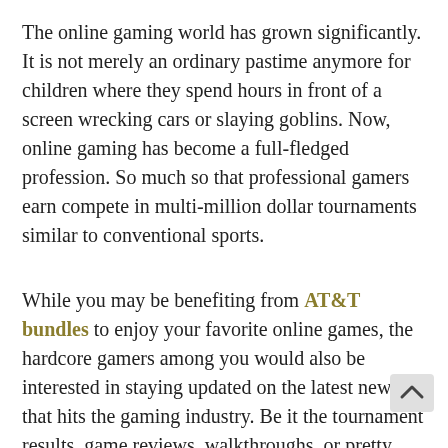The online gaming world has grown significantly. It is not merely an ordinary pastime anymore for children where they spend hours in front of a screen wrecking cars or slaying goblins. Now, online gaming has become a full-fledged profession. So much so that professional gamers earn compete in multi-million dollar tournaments similar to conventional sports.
While you may be benefiting from AT&T bundles to enjoy your favorite online games, the hardcore gamers among you would also be interested in staying updated on the latest news that hits the gaming industry. Be it the tournament results, game reviews, walkthroughs, or pretty much anything related to games. Fortunately, we have gathered a list of some of the most reliable gaming websites that offer you all the latest gaming gossip. Here they are: